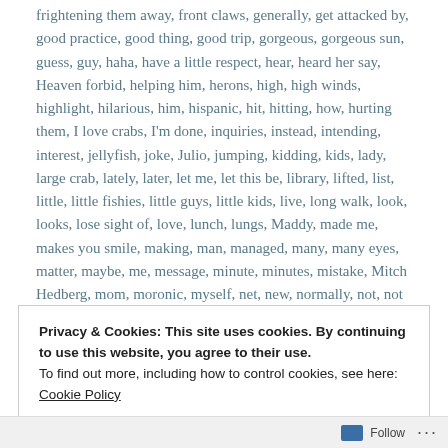frightening them away, front claws, generally, get attacked by, good practice, good thing, good trip, gorgeous, gorgeous sun, guess, guy, haha, have a little respect, hear, heard her say, Heaven forbid, helping him, herons, high, high winds, highlight, hilarious, him, hispanic, hit, hitting, how, hurting them, I love crabs, I'm done, inquiries, instead, intending, interest, jellyfish, joke, Julio, jumping, kidding, kids, lady, large crab, lately, later, let me, let this be, library, lifted, list, little, little fishies, little guys, little kids, live, long walk, look, looks, lose sight of, love, lunch, lungs, Maddy, made me, makes you smile, making, man, managed, many, many eyes, matter, maybe, me, message, minute, minutes, mistake, Mitch Hedberg, mom, moronic, myself, net, new, normally, not, not many, Nutella, occupied, of course, old, once in a while, one, one and only,
Privacy & Cookies: This site uses cookies. By continuing to use this website, you agree to their use. To find out more, including how to control cookies, see here: Cookie Policy
Close and accept
Follow ...